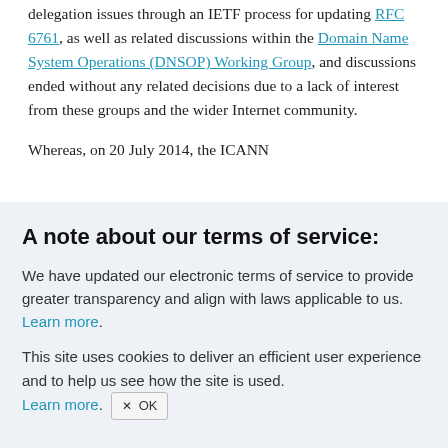delegation issues through an IETF process for updating RFC 6761, as well as related discussions within the Domain Name System Operations (DNSOP) Working Group, and discussions ended without any related decisions due to a lack of interest from these groups and the wider Internet community.
Whereas, on 20 July 2014, the ICANN
A note about our terms of service:
We have updated our electronic terms of service to provide greater transparency and align with laws applicable to us. Learn more.
This site uses cookies to deliver an efficient user experience and to help us see how the site is used. Learn more. ✕ OK